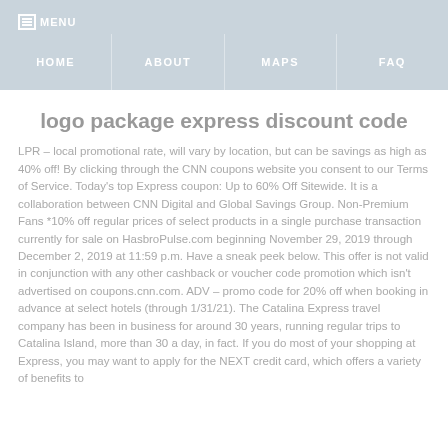MENU | HOME | ABOUT | MAPS | FAQ
logo package express discount code
LPR – local promotional rate, will vary by location, but can be savings as high as 40% off! By clicking through the CNN coupons website you consent to our Terms of Service. Today's top Express coupon: Up to 60% Off Sitewide. It is a collaboration between CNN Digital and Global Savings Group. Non-Premium Fans *10% off regular prices of select products in a single purchase transaction currently for sale on HasbroPulse.com beginning November 29, 2019 through December 2, 2019 at 11:59 p.m. Have a sneak peek below. This offer is not valid in conjunction with any other cashback or voucher code promotion which isn't advertised on coupons.cnn.com. ADV – promo code for 20% off when booking in advance at select hotels (through 1/31/21). The Catalina Express travel company has been in business for around 30 years, running regular trips to Catalina Island, more than 30 a day, in fact. If you do most of your shopping at Express, you may want to apply for the NEXT credit card, which offers a variety of benefits to